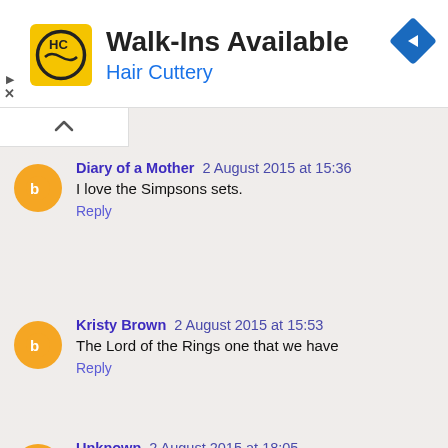[Figure (screenshot): Hair Cuttery advertisement banner with yellow HC logo, title 'Walk-Ins Available', subtitle 'Hair Cuttery', and a blue navigation arrow icon on the right.]
Diary of a Mother 2 August 2015 at 15:36
I love the Simpsons sets.
Reply
Kristy Brown 2 August 2015 at 15:53
The Lord of the Rings one that we have
Reply
Unknown 2 August 2015 at 18:05
I love the new Jurassic World sets :)
Reply